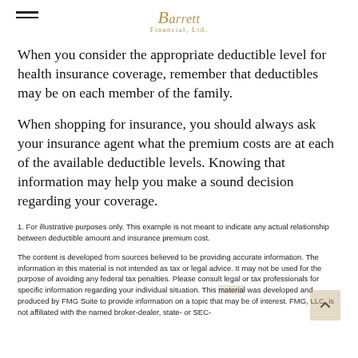Barrett Financial, Ltd.
When you consider the appropriate deductible level for health insurance coverage, remember that deductibles may be on each member of the family.
When shopping for insurance, you should always ask your insurance agent what the premium costs are at each of the available deductible levels. Knowing that information may help you make a sound decision regarding your coverage.
1. For illustrative purposes only. This example is not meant to indicate any actual relationship between deductible amount and insurance premium cost.
The content is developed from sources believed to be providing accurate information. The information in this material is not intended as tax or legal advice. It may not be used for the purpose of avoiding any federal tax penalties. Please consult legal or tax professionals for specific information regarding your individual situation. This material was developed and produced by FMG Suite to provide information on a topic that may be of interest. FMG, LLC, is not affiliated with the named broker-dealer, state- or SEC-